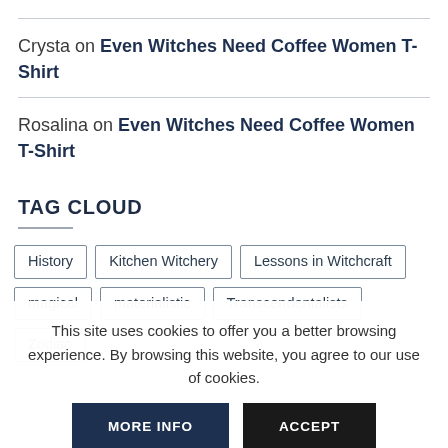Crysta on Even Witches Need Coffee Women T-Shirt
Rosalina on Even Witches Need Coffee Women T-Shirt
TAG CLOUD
History
Kitchen Witchery
Lessons in Witchcraft
magical
materialistic
Transcendentalists
Zodiac
This site uses cookies to offer you a better browsing experience. By browsing this website, you agree to our use of cookies.
MORE INFO
ACCEPT